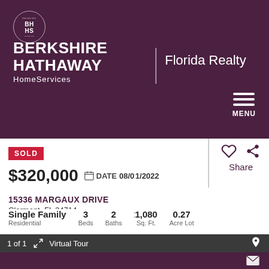[Figure (logo): Berkshire Hathaway HomeServices Florida Realty logo with circular BH HS emblem]
SOLD
$320,000  DATE 08/01/2022
15336 MARGAUX DRIVE
Clermont, FL 34714
Single Family Residential  3 Beds  2 Baths  1,080 Sq. Ft.  0.27 Acre Lot
1 of 1  Virtual Tour
[Figure (photo): Outdoor photo showing trees with green foliage against blue sky]